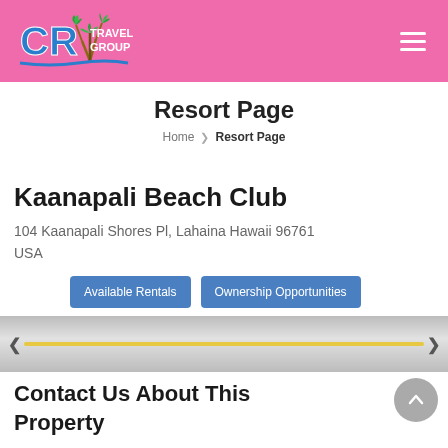CR Travel Group
Resort Page
Home > Resort Page
Kaanapali Beach Club
104 Kaanapali Shores Pl, Lahaina Hawaii 96761 USA
Available Rentals  Ownership Opportunities
[Figure (other): Image slider with gold progress bar and navigation arrows]
Contact Us About This Property